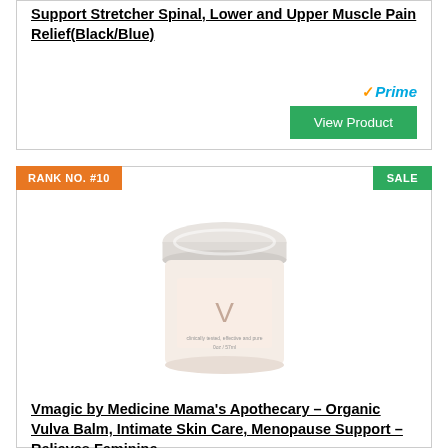Support Stretcher Spinal, Lower and Upper Muscle Pain Relief(Black/Blue)
[Figure (other): Amazon Prime badge with orange checkmark and blue Prime text]
View Product
RANK NO. #10
SALE
[Figure (photo): A white/cream round cosmetic jar with white lid, pale pink label with a V logo. Vmagic by Medicine Mama's Apothecary organic vulva balm product.]
Vmagic by Medicine Mama’s Apothecary – Organic Vulva Balm, Intimate Skin Care, Menopause Support – Relieves Feminine